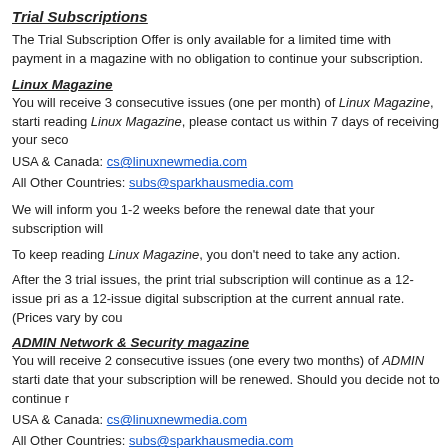Trial Subscriptions
The Trial Subscription Offer is only available for a limited time with payment in a magazine with no obligation to continue your subscription.
Linux Magazine
You will receive 3 consecutive issues (one per month) of Linux Magazine, starting reading Linux Magazine, please contact us within 7 days of receiving your second issue.
USA & Canada: cs@linuxnewmedia.com
All Other Countries: subs@sparkhausmedia.com
We will inform you 1-2 weeks before the renewal date that your subscription will be renewed.
To keep reading Linux Magazine, you don't need to take any action.
After the 3 trial issues, the print trial subscription will continue as a 12-issue print subscription or as a 12-issue digital subscription at the current annual rate. (Prices vary by country.)
ADMIN Network & Security magazine
You will receive 2 consecutive issues (one every two months) of ADMIN starting with the renewal date that your subscription will be renewed. Should you decide not to continue reading.
USA & Canada: cs@linuxnewmedia.com
All Other Countries: subs@sparkhausmedia.com
To keep reading ADMIN, you don't need to take any action.
After the 2 trial print issues, your subscription will continue as a 6-issue print subscription or as a 6-issue digital subscription at the current annual rate. (Prices vary by country.)